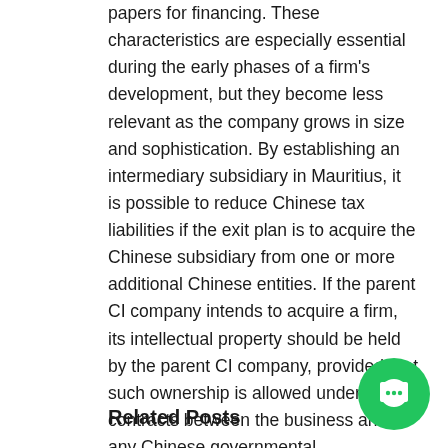papers for financing. These characteristics are especially essential during the early phases of a firm's development, but they become less relevant as the company grows in size and sophistication. By establishing an intermediary subsidiary in Mauritius, it is possible to reduce Chinese tax liabilities if the exit plan is to acquire the Chinese subsidiary from one or more additional Chinese entities. If the parent CI company intends to acquire a firm, its intellectual property should be held by the parent CI company, provided that such ownership is allowed under the contracts between the business and any Chinese governmental organizations. Finally, entrepreneurs should be mindful of the operational ramifications of maintaining a global corporate structure in their businesses. However, although it is advisable to avoid investing in infrastructure before a company has been proven, certain infrastructure may be required at the beginning in order to protect key alternatives.
Related Posts